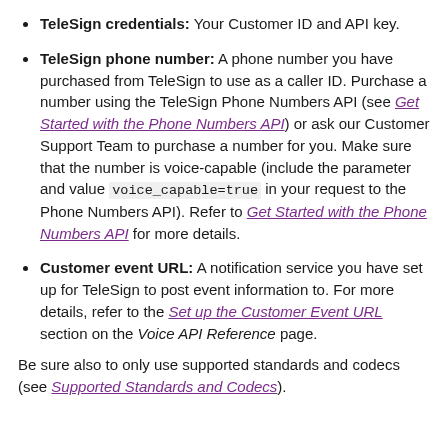TeleSign credentials: Your Customer ID and API key.
TeleSign phone number: A phone number you have purchased from TeleSign to use as a caller ID. Purchase a number using the TeleSign Phone Numbers API (see Get Started with the Phone Numbers API) or ask our Customer Support Team to purchase a number for you. Make sure that the number is voice-capable (include the parameter and value voice_capable=true in your request to the Phone Numbers API). Refer to Get Started with the Phone Numbers API for more details.
Customer event URL: A notification service you have set up for TeleSign to post event information to. For more details, refer to the Set up the Customer Event URL section on the Voice API Reference page.
Be sure also to only use supported standards and codecs (see Supported Standards and Codecs).